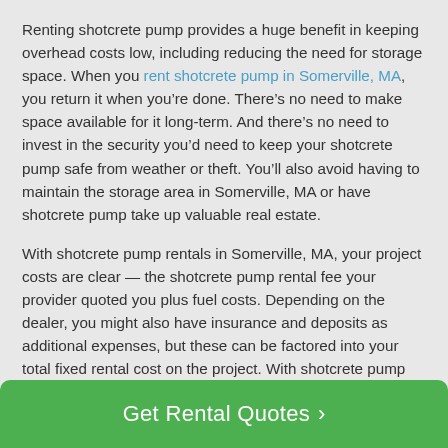Renting shotcrete pump provides a huge benefit in keeping overhead costs low, including reducing the need for storage space. When you rent shotcrete pump in Somerville, MA, you return it when you’re done. There’s no need to make space available for it long-term. And there’s no need to invest in the security you’d need to keep your shotcrete pump safe from weather or theft. You’ll also avoid having to maintain the storage area in Somerville, MA or have shotcrete pump take up valuable real estate.
With shotcrete pump rentals in Somerville, MA, your project costs are clear — the shotcrete pump rental fee your provider quoted you plus fuel costs. Depending on the dealer, you might also have insurance and deposits as additional expenses, but these can be factored into your total fixed rental cost on the project. With shotcrete pump rentals, there are no surprise expenses. You simply pay for the shotcrete pump when you need it. Knowing ahead of time exactly what your shotcrete pump rental will cost can
Get Rental Quotes ›